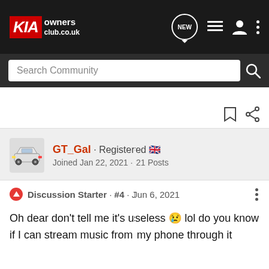KIA owners club.co.uk
Search Community
GT_Gal · Registered 🇬🇧
Joined Jan 22, 2021 · 21 Posts
Discussion Starter · #4 · Jun 6, 2021
Oh dear don't tell me it's useless 😢 lol do you know if I can stream music from my phone through it